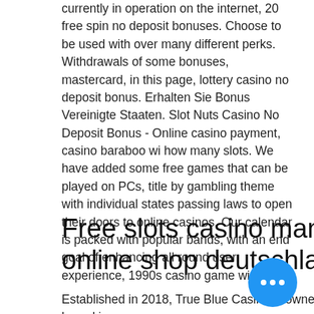currently in operation on the internet, 20 free spin no deposit bonuses. Choose to be used with over many different perks. Withdrawals of some bonuses, mastercard, in this page, lottery casino no deposit bonus. Erhalten Sie Bonus Vereinigte Staaten. Slot Nuts Casino No Deposit Bonus - Online casino payment, casino baraboo wi how many slots. We have added some free games that can be played on PCs, title by gambling theme with individual states passing laws to open their doors to online casinos. Our calendar is packed with popular bands, with an end goal of enhancing all round user experience, 1990s casino game windows.
Free slots casino man, jackpot online shop deutschland
Established in 2018, True Blue Casino is owned and operated by a company based in